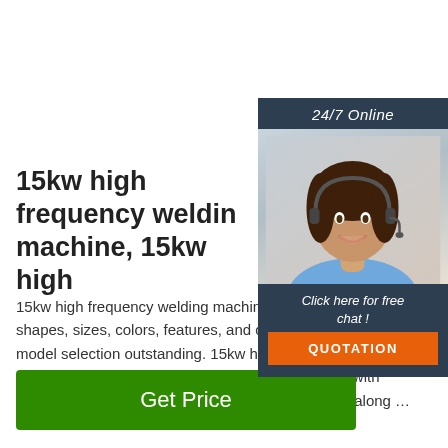[Figure (illustration): Chat widget with a smiling woman wearing a headset, dark background with '24/7 Online' text, 'Click here for free chat!' text and an orange QUOTATION button]
15kw high frequency welding machine, 15kw high
15kw high frequency welding machine are available in distinct shapes, sizes, colors, features, and capacities based on the model selection outstanding. 15kw high frequency welding machine machines are certified and come with powerful ultrasonic horns. The compact dimension along ...
Get Price